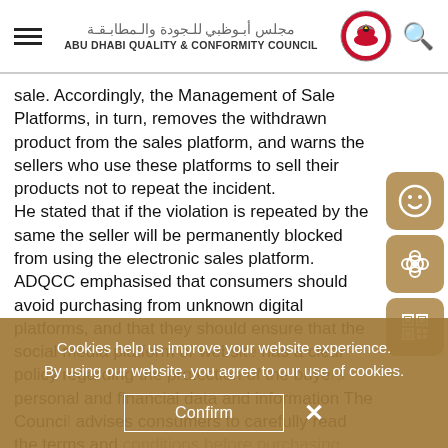Abu Dhabi Quality & Conformity Council
sale. Accordingly, the Management of Sale Platforms, in turn, removes the withdrawn product from the sales platform, and warns the sellers who use these platforms to sell their products not to repeat the incident. He stated that if the violation is repeated by the same the seller will be permanently blocked from using the electronic sales platform. ADQCC emphasised that consumers should avoid purchasing from unknown digital platforms, and that they should ensure that the social media platform or website has a clear policy regarding the protection of the buyers personal and financial data and information The Council advises consumers to carefully read the terms and conditions before purchasing from any of them or visiting the Muraa website for the informing of websites and sites.
SOURCE
Cookies help us improve your website experience. By using our website, you agree to our use of cookies. Confirm X